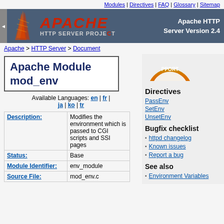Modules | Directives | FAQ | Glossary | Sitemap
[Figure (logo): Apache HTTP Server Project logo with red feather and dark blue banner. Text: APACHE HTTP SERVER PROJECT, Server Version 2.4]
Apache > HTTP Server > Document
Apache Module mod_env
Available Languages: en | fr | ja | ko | tr
| Field | Value |
| --- | --- |
| Description: | Modifies the environment which is passed to CGI scripts and SSI pages |
| Status: | Base |
| Module Identifier: | env_module |
| Source File: | mod_env.c |
[Figure (illustration): Support badge - partial orange/red arc with text PPORT]
Directives
PassEnv
SetEnv
UnsetEnv
Bugfix checklist
httpd changelog
Known issues
Report a bug
See also
Environment Variables